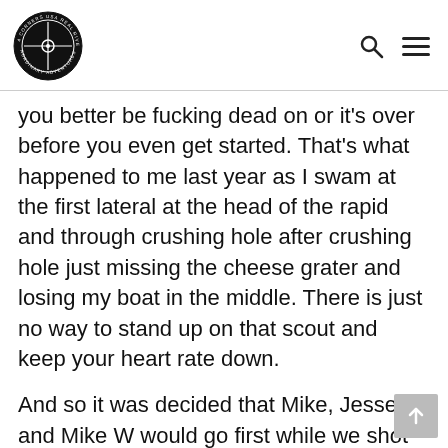[Figure (logo): Circular black logo with compass/crosshair design and text around the rim reading '4 CORNERS USA REAL RIVER EXTRAORDINARY ADVENTURES']
you better be fucking dead on or it’s over before you even get started. That’s what happened to me last year as I swam at the first lateral at the head of the rapid and through crushing hole after crushing hole just missing the cheese grater and losing my boat in the middle. There is just no way to stand up on that scout and keep your heart rate down.
And so it was decided that Mike, Jesse and Mike W would go first while we shot photos and screamed. And I would lead the second wave through after that. Mike and Jesse had a wild and successful ride through the meat of it all and